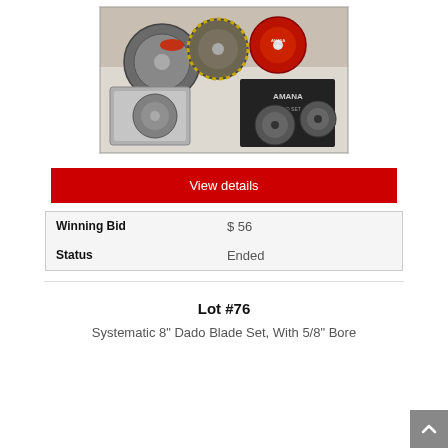[Figure (photo): Photo of a Systematic 8 inch Dado Blade Set with 5/8 inch bore, showing multiple circular saw blades and dado blade components arranged on a surface, with an Amana brand visible on packaging.]
View details
| Winning Bid | $ 56 |
| Status | Ended |
Lot #76
Systematic 8" Dado Blade Set, With 5/8" Bore